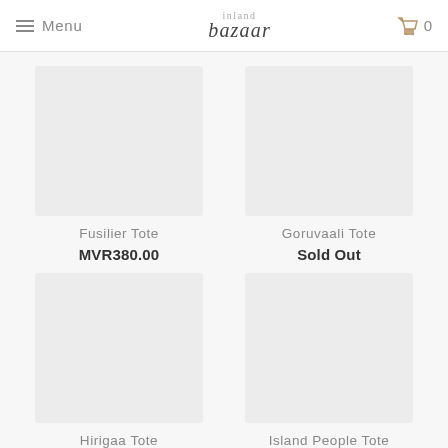≡ Menu | bazaar | 🛒 0
Fusilier Tote
MVR380.00
Goruvaali Tote
Sold Out
Hirigaa Tote
MVR380.00
Island People Tote
Sold Out